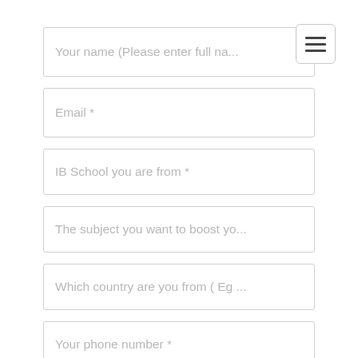[Figure (screenshot): Hamburger menu button icon (three horizontal bars) in top-right corner]
Your name (Please enter full na...
Email *
IB School you are from *
The subject you want to boost yo...
Which country are you from ( Eg ...
Your phone number *
Your year of IB graduation *